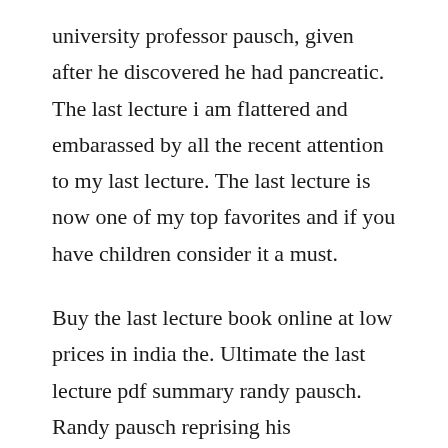university professor pausch, given after he discovered he had pancreatic. The last lecture i am flattered and embarassed by all the recent attention to my last lecture. The last lecture is now one of my top favorites and if you have children consider it a must.
Buy the last lecture book online at low prices in india the. Ultimate the last lecture pdf summary randy pausch. Randy pausch reprising his inspirational and moving last lecture on the oprah show oct 22, 2007. About the book randy pauschs last lecture carnegie.